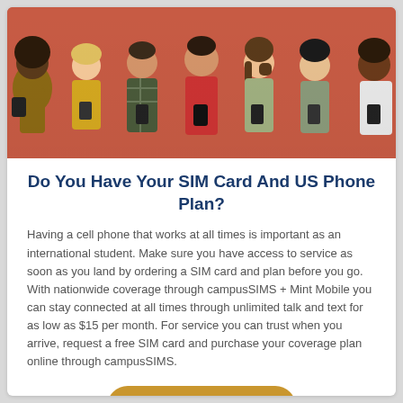[Figure (photo): Group of seven young people standing against an orange-red wall, each looking down at their smartphones and smiling.]
Do You Have Your SIM Card And US Phone Plan?
Having a cell phone that works at all times is important as an international student. Make sure you have access to service as soon as you land by ordering a SIM card and plan before you go. With nationwide coverage through campusSIMS + Mint Mobile you can stay connected at all times through unlimited talk and text for as low as $15 per month. For service you can trust when you arrive, request a free SIM card and purchase your coverage plan online through campusSIMS.
Learn More